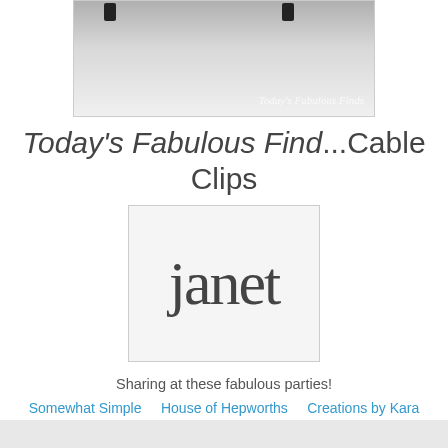[Figure (photo): Photo of cable clips attached to a surface, with watermark text 'Today's Fabulous Finds' in the lower right corner]
Today's Fabulous Find...Cable Clips
[Figure (illustration): Signature image showing the name 'janet' in handwritten cursive style on a light gray background]
Sharing at these fabulous parties!
Somewhat Simple    House of Hepworths    Creations by Kara    Lil' Luna    Tip Junkie
Home Stories A to Z    Today's Creative Blog    Skip To My Lou    Under the Table and Dreaming